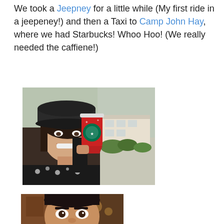We took a Jeepney for a little while (My first ride in a jeepeney!) and then a Taxi to Camp John Hay, where we had Starbucks! Whoo Hoo! (We really needed the caffiene!)
[Figure (photo): Woman wearing a dark cap and patterned black sweater with skull motifs, smiling and holding a red Starbucks holiday cup. Background shows trees and a building exterior.]
[Figure (photo): Close-up of a person's face with dark hair, smiling, in what appears to be a Starbucks interior with warm lighting.]